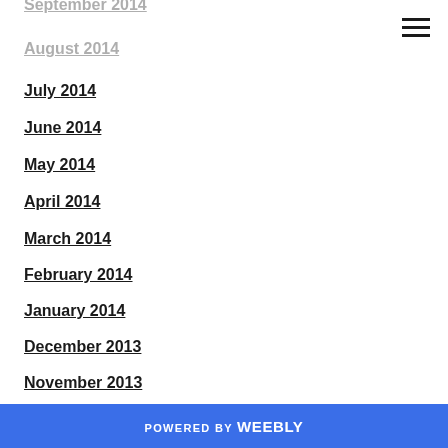September 2014
August 2014
July 2014
June 2014
May 2014
April 2014
March 2014
February 2014
January 2014
December 2013
November 2013
October 2013
September 2013
August 2013
July 2013
June 2013
May 2013
POWERED BY weebly